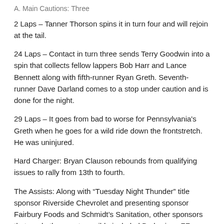A. Main Cautions: Three
2 Laps – Tanner Thorson spins it in turn four and will rejoin at the tail.
24 Laps – Contact in turn three sends Terry Goodwin into a spin that collects fellow lappers Bob Harr and Lance Bennett along with fifth-runner Ryan Greth. Seventh-runner Dave Darland comes to a stop under caution and is done for the night.
29 Laps – It goes from bad to worse for Pennsylvania's Greth when he goes for a wild ride down the frontstretch. He was uninjured.
Hard Charger: Bryan Clauson rebounds from qualifying issues to rally from 13th to fourth.
The Assists: Along with “Tuesday Night Thunder” title sponsor Riverside Chevrolet and presenting sponsor Fairbury Foods and Schmidt’s Sanitation, other sponsors that made the event possible included Budweiser, ZFour Trucking, Starr Plumbing, Big Bamboo Studios, Pollman Appliances, Vaughn Contracting, Rod End Supply, Precise Racing, EMI, Factor 1 Racing, Keizer Wheels, Schoenfeld Headers, Napa Auto Parts, Fairbury Chamber of